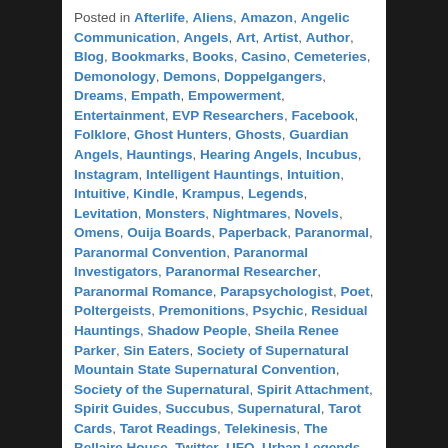Posted in Afterlife, Aliens, Amazon, Angelic Communication, Angels, Art, Artist, Author, Blog, Bookmarks, Books, Casino, Cemeteries, Demonology, Demons, Doppelgangers, Dreams, Empath, Empowerment, Entertainment, EVP Researchers, Facebook, Folklore, Ghost Hunters, Ghosts, Guardian Angels, Hauntings, Hearing Angels, Incubus, Instagram, Intelligent Hauntings, Intuition, Intuitive, Kindle, Krampus, Legends, Levitation, Monsters, Nightmares, Novels, Omens, Ouija Boards, Paperback, Paranormal, Paranormal Convention, Paranormal Investigators, Paranormal Researcher, Paranormal Romance, Parapsychologist, Poet, Poltergeists, Premonitions, Psychic, Residual Hauntings, Shadow People, Sheila Renee Parker, Sin Eaters, Society of Supernatural Mountain State Supernatural Convention, Society of the Supernatural, Spirit Attachment, Spirit Guides, Succubus, Supernatural, Tarot Cards, Tarot Readings, Telekinesis, The Bellaire House, Twitter, UFO, Urban Legends, Vampires, Werewolves, Witches, Writer | Tagged Afterlife, Aliens, Amazon, Angelic Communication, Angels, Art, Artist, Author, Blog, Bookmarks, Books, Casino, Cemeteries, Demonology, Demons, Doppelgangers, Dreams, Empath, Empowerment, Entertainment, EVP Researchers, Facebook, Folklore,